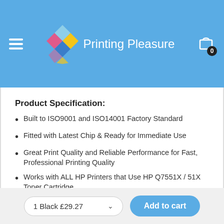[Figure (logo): Printing Pleasure logo with colorful diamond shapes and white text, on a blue header background with hamburger menu and cart icon]
Product Specification:
Built to ISO9001 and ISO14001 Factory Standard
Fitted with Latest Chip & Ready for Immediate Use
Great Print Quality and Reliable Performance for Fast, Professional Printing Quality
Works with ALL HP Printers that Use HP Q7551X / 51X Toner Cartridge
1 Black £29.27   Add to cart